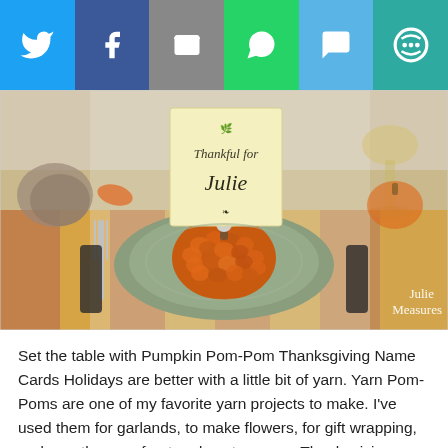[Figure (other): Social media share bar with Twitter, Facebook, Email, WhatsApp, SMS, and another share icon buttons]
[Figure (photo): A yarn pom-pom shaped like a pumpkin sitting on a green plate at a Thanksgiving table setting. A place card reads 'Thankful for Julie'. A wine glass and fall decorations visible in the background. Watermark reads 'Julie Measures'.]
Set the table with Pumpkin Pom-Pom Thanksgiving Name Cards Holidays are better with a little bit of yarn. Yarn Pom-Poms are one of my favorite yarn projects to make. I've used them for garlands, to make flowers, for gift wrapping, and now they are front and center on my Thanksgiving table. I have some crochet and knit